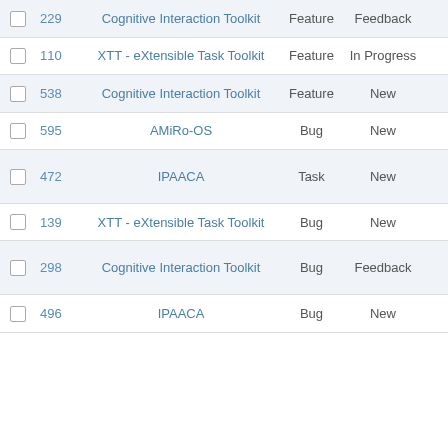|  | # | Project | Type | Status | Priority |
| --- | --- | --- | --- | --- | --- |
|  | 229 | Cognitive Interaction Toolkit | Feature | Feedback | Normal |
|  | 110 | XTT - eXtensible Task Toolkit | Feature | In Progress | Normal |
|  | 538 | Cognitive Interaction Toolkit | Feature | New | Normal |
|  | 595 | AMiRo-OS | Bug | New | Normal |
|  | 472 | IPAACA | Task | New | Normal |
|  | 139 | XTT - eXtensible Task Toolkit | Bug | New | Normal |
|  | 298 | Cognitive Interaction Toolkit | Bug | Feedback | Normal |
|  | 496 | IPAACA | Bug | New | Normal |